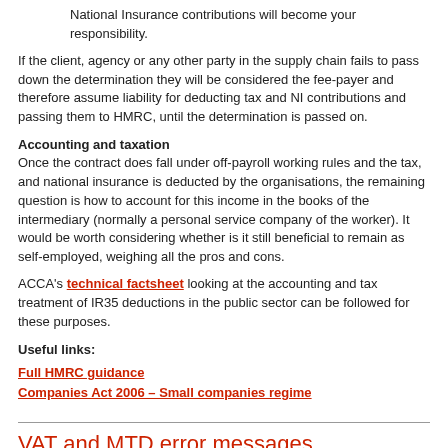National Insurance contributions will become your responsibility.
If the client, agency or any other party in the supply chain fails to pass down the determination they will be considered the fee-payer and therefore assume liability for deducting tax and NI contributions and passing them to HMRC, until the determination is passed on.
Accounting and taxation
Once the contract does fall under off-payroll working rules and the tax, and national insurance is deducted by the organisations, the remaining question is how to account for this income in the books of the intermediary (normally a personal service company of the worker). It would be worth considering whether is it still beneficial to remain as self-employed, weighing all the pros and cons.
ACCA's technical factsheet looking at the accounting and tax treatment of IR35 deductions in the public sector can be followed for these purposes.
Useful links:
Full HMRC guidance
Companies Act 2006 – Small companies regime
VAT and MTD error messages
HMRC has provided a list of error messages which may be encountered when filing an MTD for VAT return.
HMRC has provided a list of error messages which may be encountered when